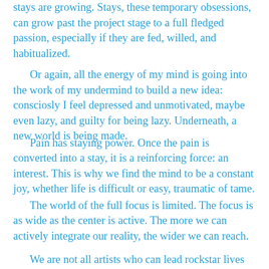stays are growing. Stays, these temporary obsessions, can grow past the project stage to a full fledged passion, especially if they are fed, willed, and habitualized.
Or again, all the energy of my mind is going into the work of my undermind to build a new idea: consciosly I feel depressed and unmotivated, maybe even lazy, and guilty for being lazy. Underneath, a new world is being made.
Pain has staying power. Once the pain is converted into a stay, it is a reinforcing force: an interest. This is why we find the mind to be a constant joy, whether life is difficult or easy, traumatic of tame.
The world of the full focus is limited. The focus is as wide as the center is active. The more we can actively integrate our reality, the wider we can reach.
We are not all artists who can lead rockstar lives of whim and whimsy. Some of us must elect one goal to devote our entire lives. To this, I recommend making a monolithic goal, something to which you can channel all your energies in one great forward. I, for instance, work a writing project, for which this is one tool, which captures all the...